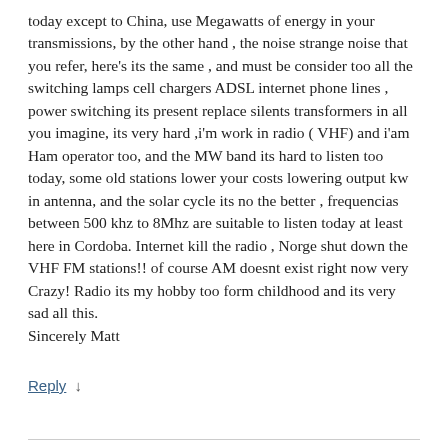today except to China, use Megawatts of energy in your transmissions, by the other hand , the noise strange noise that you refer, here's its the same , and must be consider too all the switching lamps cell chargers ADSL internet phone lines , power switching its present replace silents transformers in all you imagine, its very hard ,i'm work in radio ( VHF) and i'am Ham operator too, and the MW band its hard to listen too today, some old stations lower your costs lowering output kw in antenna, and the solar cycle its no the better , frequencias between 500 khz to 8Mhz are suitable to listen today at least here in Cordoba. Internet kill the radio , Norge shut down the VHF FM stations!! of course AM doesnt exist right now very Crazy! Radio its my hobby too form childhood and its very sad all this.
Sincerely Matt
Reply ↓